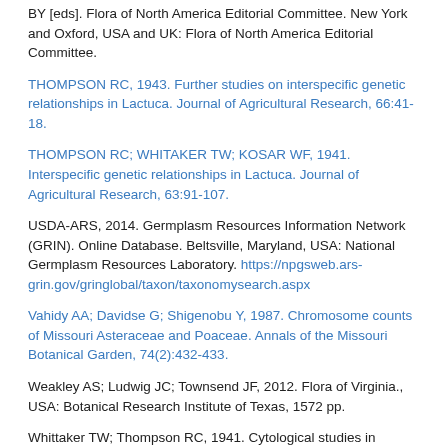BY [eds]. Flora of North America Editorial Committee. New York and Oxford, USA and UK: Flora of North America Editorial Committee.
THOMPSON RC, 1943. Further studies on interspecific genetic relationships in Lactuca. Journal of Agricultural Research, 66:41-18.
THOMPSON RC; WHITAKER TW; KOSAR WF, 1941. Interspecific genetic relationships in Lactuca. Journal of Agricultural Research, 63:91-107.
USDA-ARS, 2014. Germplasm Resources Information Network (GRIN). Online Database. Beltsville, Maryland, USA: National Germplasm Resources Laboratory. https://npgsweb.ars-grin.gov/gringlobal/taxon/taxonomysearch.aspx
Vahidy AA; Davidse G; Shigenobu Y, 1987. Chromosome counts of Missouri Asteraceae and Poaceae. Annals of the Missouri Botanical Garden, 74(2):432-433.
Weakley AS; Ludwig JC; Townsend JF, 2012. Flora of Virginia., USA: Botanical Research Institute of Texas, 1572 pp.
Whittaker TW; Thompson RC, 1941. Cytological studies in Lactuca. Torrey Botanical Club Bulletin, 68:388-394.
Distribution References
Acevedo-Rodríguez P, Strong M T, 2012. Catalogue of the Seed Plants